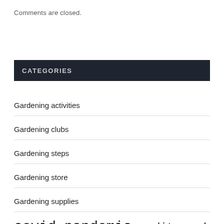Comments are closed.
CATEGORIES
Gardening activities
Gardening clubs
Gardening steps
Gardening store
Gardening supplies
covid pandemic  credit card  credit score  department education  direct lender  federal reserve